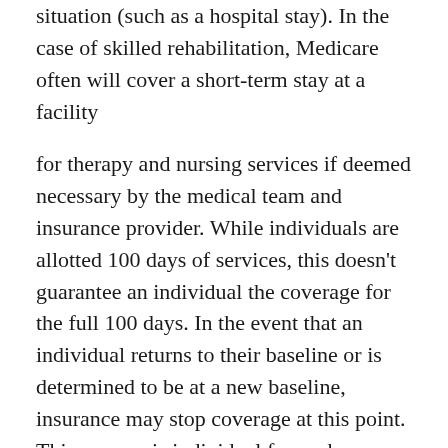situation (such as a hospital stay). In the case of skilled rehabilitation, Medicare often will cover a short-term stay at a facility
for therapy and nursing services if deemed necessary by the medical team and insurance provider. While individuals are allotted 100 days of services, this doesn't guarantee an individual the coverage for the full 100 days. In the event that an individual returns to their baseline or is determined to be at a new baseline, insurance may stop coverage at this point. This process is individual for each person and is communicated through their facility and the insurance company.